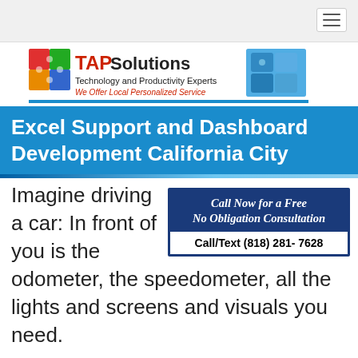[Figure (logo): TAPSolutions logo with puzzle pieces and blue imagery, tagline 'Technology and Productivity Experts' and 'We Offer Local Personalized Service']
Excel Support and Dashboard Development California City
[Figure (infographic): Call Now for a Free No Obligation Consultation box. Call/Text (818) 281-7628]
Imagine driving a car: In front of you is the odometer, the speedometer, all the lights and screens and visuals you need.